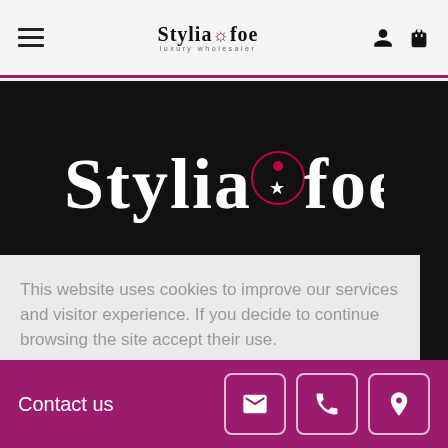Stylia&foe – luxury wholesaler – navigation bar
[Figure (logo): Stylia&foe luxury wholesaler logo displayed large on black hero background]
This website uses cookies to improve our services and visitor experience. If you decide to continue browsing the site accept their use.
Contact us – with email, phone, and location icon buttons